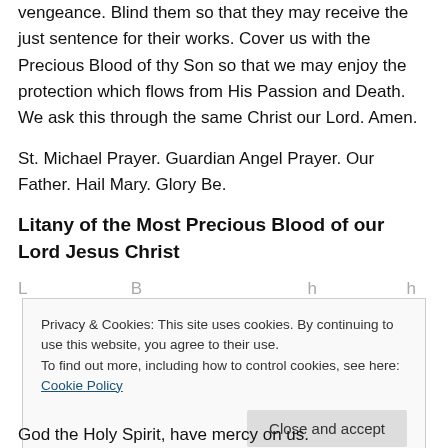vengeance. Blind them so that they may receive the just sentence for their works. Cover us with the Precious Blood of thy Son so that we may enjoy the protection which flows from His Passion and Death. We ask this through the same Christ our Lord. Amen.
St. Michael Prayer. Guardian Angel Prayer. Our Father. Hail Mary. Glory Be.
Litany of the Most Precious Blood of our Lord Jesus Christ
Privacy & Cookies: This site uses cookies. By continuing to use this website, you agree to their use.
To find out more, including how to control cookies, see here: Cookie Policy
God the Holy Spirit, have mercy on us.